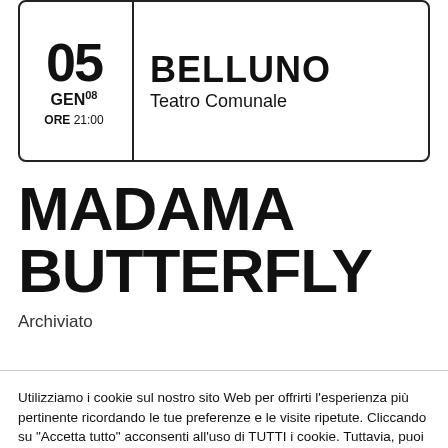[Figure (other): Event card showing date 05 GEN'08 at ORE 21:00, venue BELLUNO, Teatro Comunale]
MADAMA BUTTERFLY
Archiviato
Utilizziamo i cookie sul nostro sito Web per offrirti l'esperienza più pertinente ricordando le tue preferenze e le visite ripetute. Cliccando su "Accetta tutto" acconsenti all'uso di TUTTI i cookie. Tuttavia, puoi visitare "Impostazioni cookie" per fornire un consenso controllato.